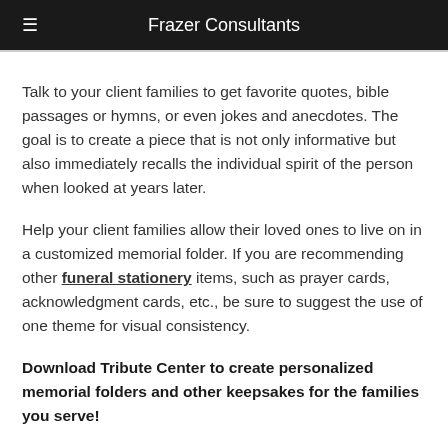Frazer Consultants
Talk to your client families to get favorite quotes, bible passages or hymns, or even jokes and anecdotes. The goal is to create a piece that is not only informative but also immediately recalls the individual spirit of the person when looked at years later.
Help your client families allow their loved ones to live on in a customized memorial folder. If you are recommending other funeral stationery items, such as prayer cards, acknowledgment cards, etc., be sure to suggest the use of one theme for visual consistency.
Download Tribute Center to create personalized memorial folders and other keepsakes for the families you serve!